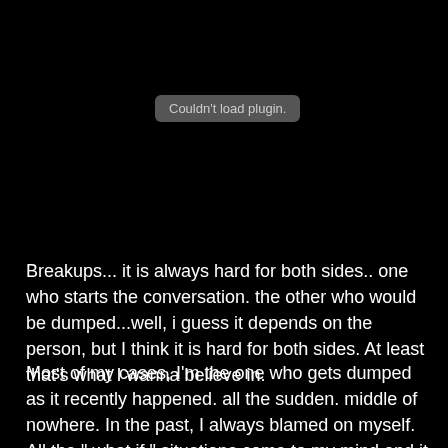[Figure (other): Plugin placeholder box with text 'Couldn't load plugin.' on a black background]
Breakups... it is always hard for both sides.. one who starts the conversation. the other who would be dumped...well, i guess it depends on the person, but I think it is hard for both sides. At least that's what I wanna believe in.
Most of my cases, I'm the one who gets dumped as it recently happened. all the sudden. middle of nowhere. In the past, I always blamed on myself. All the " what if " situations come to my mind and it breaks my heart. but I'm over with it. I mean, I'm me.. I can't change that. it is just too bad if the